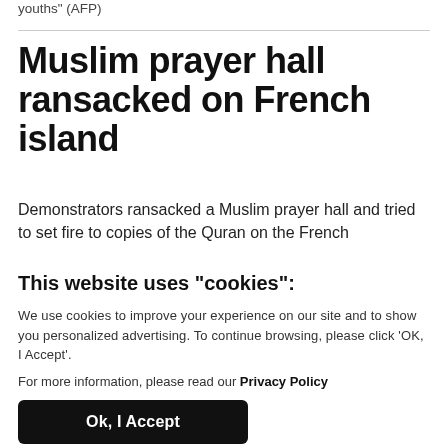youths" (AFP)
Muslim prayer hall ransacked on French island
Demonstrators ransacked a Muslim prayer hall and tried to set fire to copies of the Quran on the French
This website uses "cookies":
We use cookies to improve your experience on our site and to show you personalized advertising. To continue browsing, please click 'OK, I Accept'.
For more information, please read our Privacy Policy
Ok, I Accept